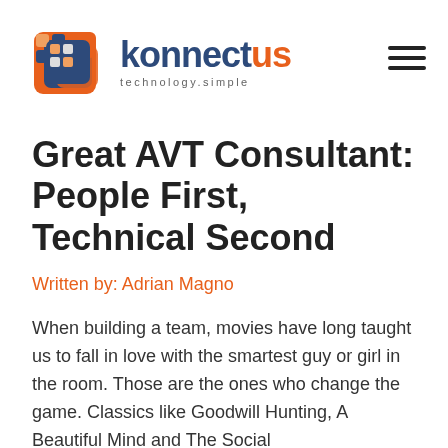[Figure (logo): KonnectUS logo with orange and blue icon and wordmark 'konnectus technology.simple']
Great AVT Consultant: People First, Technical Second
Written by: Adrian Magno
When building a team, movies have long taught us to fall in love with the smartest guy or girl in the room. Those are the ones who change the game. Classics like Goodwill Hunting, A Beautiful Mind and The Social